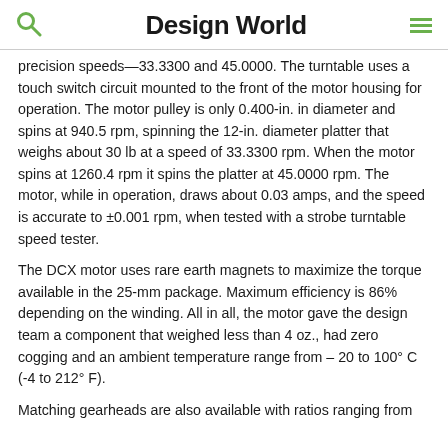Design World
precision speeds—33.3300 and 45.0000. The turntable uses a touch switch circuit mounted to the front of the motor housing for operation. The motor pulley is only 0.400-in. in diameter and spins at 940.5 rpm, spinning the 12-in. diameter platter that weighs about 30 lb at a speed of 33.3300 rpm. When the motor spins at 1260.4 rpm it spins the platter at 45.0000 rpm. The motor, while in operation, draws about 0.03 amps, and the speed is accurate to ±0.001 rpm, when tested with a strobe turntable speed tester.
The DCX motor uses rare earth magnets to maximize the torque available in the 25-mm package. Maximum efficiency is 86% depending on the winding. All in all, the motor gave the design team a component that weighed less than 4 oz., had zero cogging and an ambient temperature range from – 20 to 100° C (-4 to 212° F).
Matching gearheads are also available with ratios ranging from